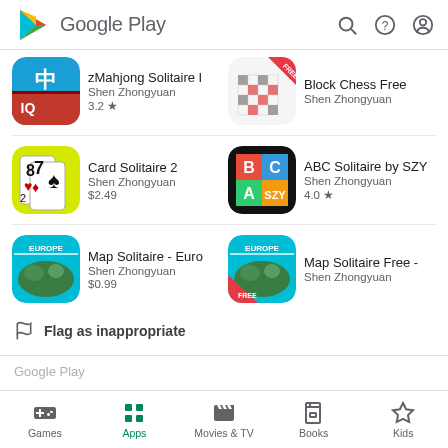Google Play
[Figure (screenshot): zMahjong Solitaire app icon - teal background with red Chinese character]
zMahjong Solitaire I
Shen Zhongyuan
3.2 ★
[Figure (screenshot): Block Chess Free app icon - grid of colored squares]
Block Chess Free
Shen Zhongyuan
[Figure (screenshot): Card Solitaire 2 app icon - yellow background with playing cards]
Card Solitaire 2
Shen Zhongyuan
$2.49
[Figure (screenshot): ABC Solitaire by SZY app icon - colorful blocks with letters]
ABC Solitaire by SZY
Shen Zhongyuan
4.0 ★
[Figure (screenshot): Map Solitaire Euro app icon - Europe map on blue background]
Map Solitaire - Euro
Shen Zhongyuan
$0.99
[Figure (screenshot): Map Solitaire Free app icon - Europe map with FREE banner]
Map Solitaire Free -
Shen Zhongyuan
Flag as inappropriate
Games  Apps  Movies & TV  Books  Kids